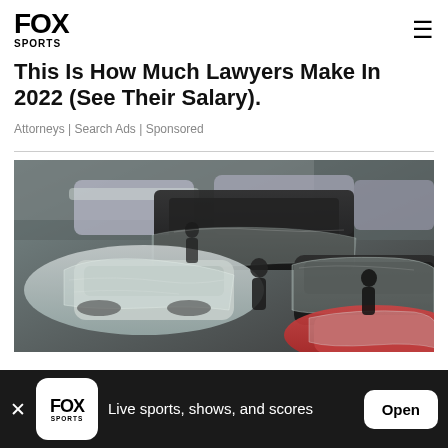FOX SPORTS
This Is How Much Lawyers Make In 2022 (See Their Salary).
Attorneys | Search Ads | Sponsored
[Figure (photo): Cars covered in plastic wrap/protective covering inside what appears to be a dealership or storage facility, with people visible among the vehicles.]
Live sports, shows, and scores
Open